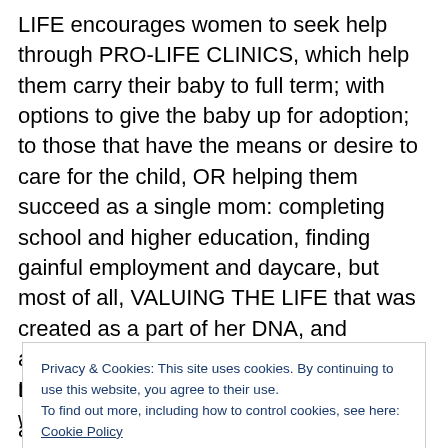LIFE encourages women to seek help through PRO-LIFE CLINICS, which help them carry their baby to full term; with options to give the baby up for adoption; to those that have the means or desire to care for the child, OR helping them succeed as a single mom: completing school and higher education, finding gainful employment and daycare, but most of all, VALUING THE LIFE that was created as a part of her DNA, and allowing herself and the child to grow, and mature; to make a positive imprint on the world around them.
LIFE is about STOPPING Tax-payer funding of abortions
Privacy & Cookies: This site uses cookies. By continuing to use this website, you agree to their use.
To find out more, including how to control cookies, see here: Cookie Policy
assisting in the deplorable practice of killing innocent